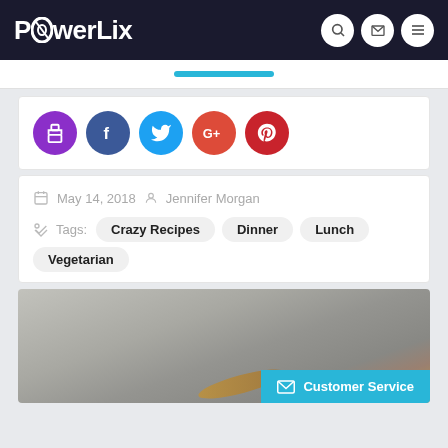PowerLix
[Figure (screenshot): Social share buttons: print (purple), Facebook (blue), Twitter (light blue), Google+ (orange-red), Pinterest (red)]
May 14, 2018  Jennifer Morgan
Tags: Crazy Recipes  Dinner  Lunch  Vegetarian
[Figure (photo): Blurred close-up food photo with grilled or baked item on a gray background, with a Customer Service button overlay]